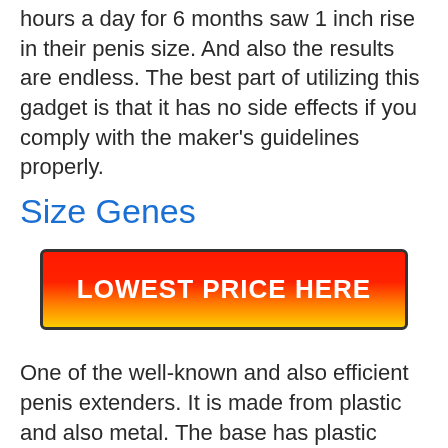hours a day for 6 months saw 1 inch rise in their penis size. And also the results are endless. The best part of utilizing this gadget is that it has no side effects if you comply with the maker's guidelines properly.
Size Genes
[Figure (other): Red to orange/yellow gradient call-to-action button with text LOWEST PRICE HERE in bold white letters]
One of the well-known and also efficient penis extenders. It is made from plastic and also metal. The base has plastic drive ring which is made to pass the penis via it. Unique poles are connected directly to the ring. The readjusting nuts are gotten in touch with expansion cables with spring device. A